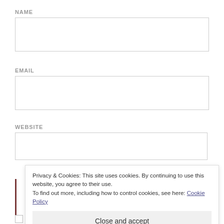NAME
[Figure (other): Empty text input field for Name]
EMAIL
[Figure (other): Empty text input field for Email]
WEBSITE
[Figure (other): Empty text input field for Website]
Privacy & Cookies: This site uses cookies. By continuing to use this website, you agree to their use.
To find out more, including how to control cookies, see here: Cookie Policy
Close and accept
NOTIFY ME OF NEW COMMENTS VIA EMAIL.